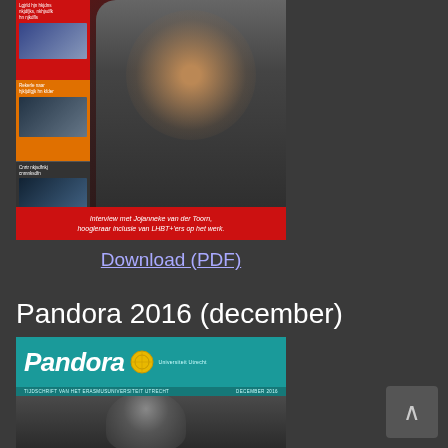[Figure (photo): Magazine cover showing a woman with long brown hair in a dark outfit, with sidebar thumbnails on left and a red caption bar at the bottom reading 'Interview met Jojanneke van der Toorn, hoogleraar inclusie van LHBT+'ers op het werk.']
Download (PDF)
Pandora 2016 (december)
[Figure (photo): Pandora magazine cover with teal header showing the Pandora logo with a golden emblem, subtitle text 'TIJDSCHRIFT VAN HET ERASMUSUNIVERSITEIT UTRECHT' and 'DECEMBER 2016', and the top of a person's head below]